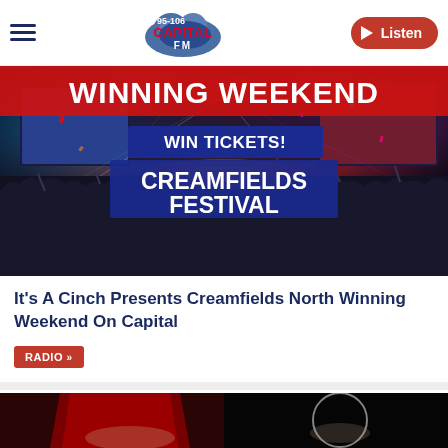Capital FM 95-106 | Listen
[Figure (photo): Creamfields Festival crowd at night with stage lights. Banner text: WINNING WEEKEND, WIN TICKETS! CREAMFIELDS FESTIVAL]
It's A Cinch Presents Creamfields North Winning Weekend On Capital
RADIO »
[Figure (photo): Two women posing in front of red chairs, one image in a circle overlay]